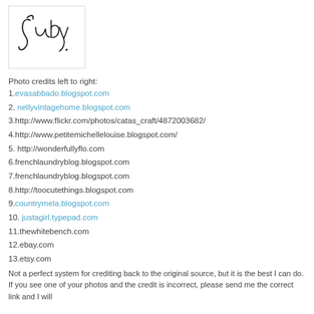[Figure (illustration): Handwritten cursive signature reading 'Judy' in a bordered box]
Photo credits left to right:
1.evasabbado.blogspot.com
2. nellyvintagehome.blogspot.com
3.http://www.flickr.com/photos/catas_craft/4872003682/
4.http://www.petitemichellelouise.blogspot.com/
5. http://wonderfullyflo.com
6.frenchlaundryblog.blogspot.com
7.frenchlaundryblog.blogspot.com
8.http://toocutethings.blogspot.com
9.countrymela.blogspot.com
10. justagirl.typepad.com
11.thewhitebench.com
12.ebay.com
13.etsy.com
Not a perfect system for crediting back to the original source, but it is the best I can do. If you see one of your photos and the credit is incorrect, please send me the correct link and I will